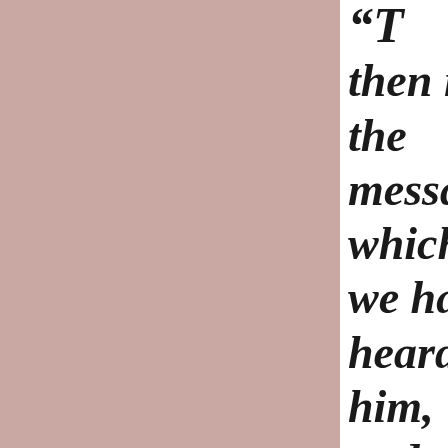[Figure (illustration): Large mauve/dusty pink colored rectangular panel occupying the left ~75% of the page]
“T then is the message which we have heard of him, and declare unto you,